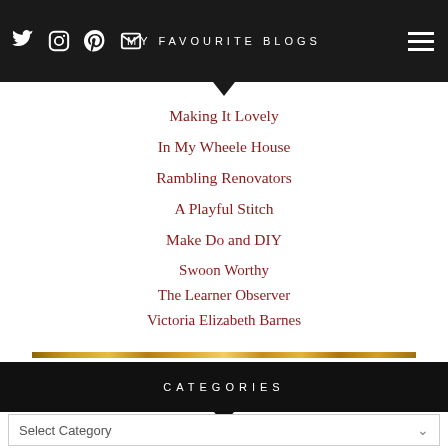MY FAVOURITE BLOGS
Making It Lovely
In My Wheele House
Rambling Renovators
A Playful Stitch
Make Do and DIY
Swoon Worthy
The Learner Observer
Victoria Elizabeth Barnes
CATEGORIES
Select Category